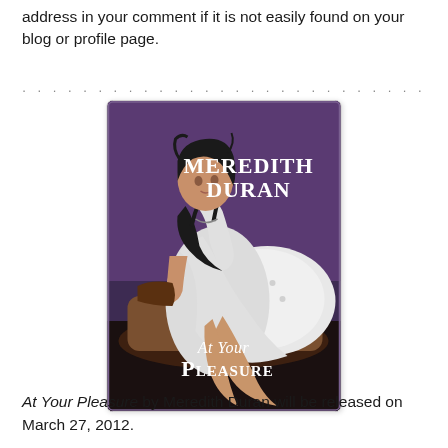address in your comment if it is not easily found on your blog or profile page.
[Figure (illustration): Book cover for 'At Your Pleasure' by Meredith Duran. A woman in a white dress reclines on a chaise lounge against a purple background. The author name 'Meredith Duran' and title 'At Your Pleasure' appear in decorative serif text.]
At Your Pleasure by Meredith Duran will be released on March 27, 2012.